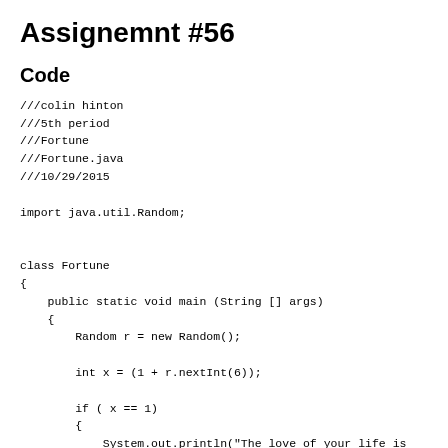Assignemnt #56
Code
///colin hinton
///5th period
///Fortune
///Fortune.java
///10/29/2015

import java.util.Random;


class Fortune
{
    public static void main (String [] args)
    {
        Random r = new Random();

        int x = (1 + r.nextInt(6));

        if ( x == 1)
        {
            System.out.println("The love of your life is
            System.out.print(1 + r.nextInt(54) + "\t");
            System.out.print(1 + r.nextInt(54) + "\t");
            System.out.print(1 + r.nextInt(54) + "\t");